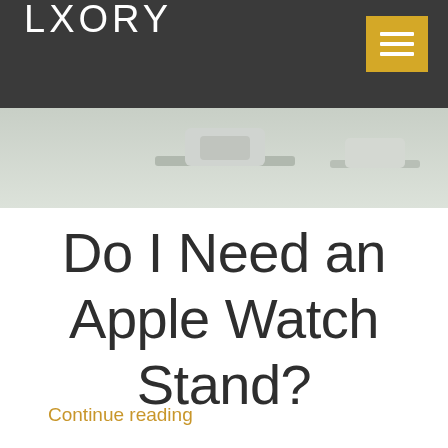LXORY
[Figure (photo): Partial view of Apple Watch stand product on a light green/grey background]
Do I Need an Apple Watch Stand?
Continue reading